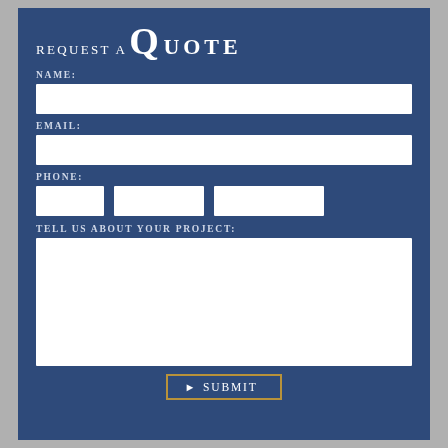REQUEST A QUOTE
NAME:
EMAIL:
PHONE:
TELL US ABOUT YOUR PROJECT:
► SUBMIT